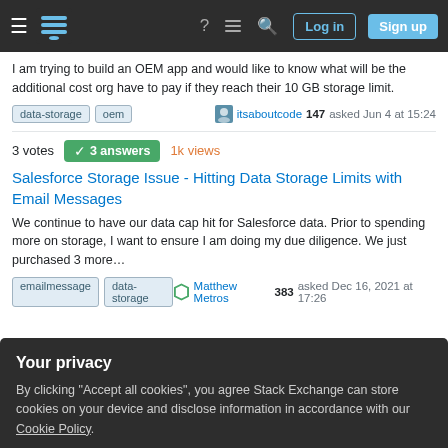Stack Exchange navigation bar with login and sign up buttons
I am trying to build an OEM app and would like to know what will be the additional cost org have to pay if they reach their 10 GB storage limit.
data-storage  oem   itsaboutcode 147 asked Jun 4 at 15:24
3 votes  3 answers  1k views
Salesforce Storage Issue - Hitting Data Storage Limits with Email Messages
We continue to have our data cap hit for Salesforce data. Prior to spending more on storage, I want to ensure I am doing my due diligence. We just purchased 3 more…
emailmessage  data-storage   Matthew Metros 383 asked Dec 16, 2021 at 17:26
Your privacy
By clicking "Accept all cookies", you agree Stack Exchange can store cookies on your device and disclose information in accordance with our Cookie Policy.
Accept all cookies  Customize settings
Julius Diedenhofan 1 asked May 5, 2021 at 11:47